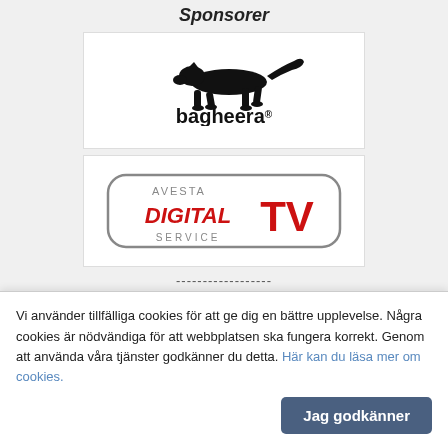Sponsorer
[Figure (logo): Bagheera logo — running black cheetah silhouette above the word 'bagheera' in bold lowercase with registered trademark symbol]
[Figure (logo): Avesta Digital TV Service logo — rounded rectangle border with 'AVESTA' in grey, 'DIGITAL' in red bold italic, 'TV' in large red bold, 'SERVICE' in grey below]
------------------
Avesta orienteringsklubb
Vi använder tillfälliga cookies för att ge dig en bättre upplevelse. Några cookies är nödvändiga för att webbplatsen ska fungera korrekt. Genom att använda våra tjänster godkänner du detta. Här kan du läsa mer om cookies.
Jag godkänner